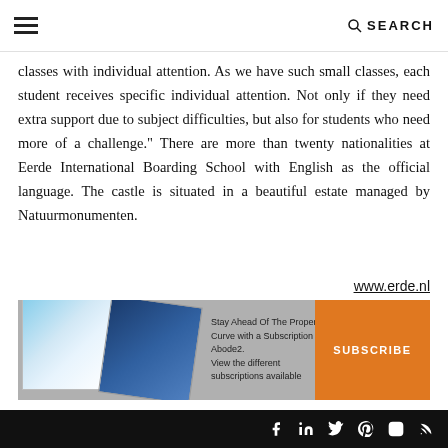☰  SEARCH
classes with individual attention. As we have such small classes, each student receives specific individual attention. Not only if they need extra support due to subject difficulties, but also for students who need more of a challenge." There are more than twenty nationalities at Eerde International Boarding School with English as the official language. The castle is situated in a beautiful estate managed by Natuurmonumenten.
www.erde.nl
[Figure (infographic): Advertisement banner: magazine cover images on the left, text 'Stay Ahead Of The Property Curve with a Subscription to Abode2. View the different subscriptions available' in the center, and an orange SUBSCRIBE button on the right.]
Social media icons: Facebook, LinkedIn, Twitter, Pinterest, Instagram, RSS